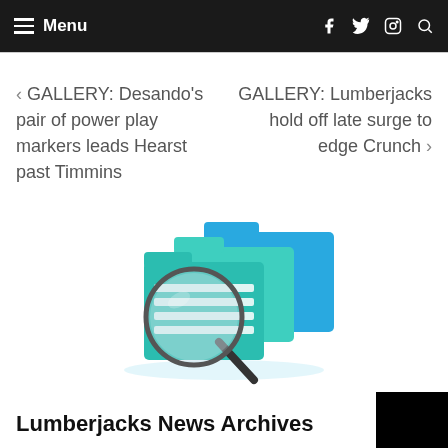☰ Menu  f 𝕏 ⊙ 🔍
< GALLERY: Desando's pair of power play markers leads Hearst past Timmins
GALLERY: Lumberjacks hold off late surge to edge Crunch >
[Figure (illustration): 3D illustration of blue file folders with a magnifying glass searching through files]
Lumberjacks News Archives